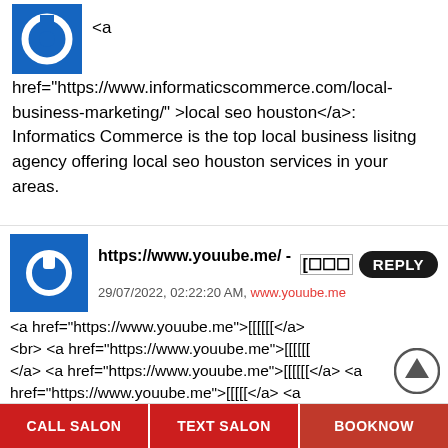[Figure (logo): Blue square avatar with white circular icon, top left, partially cropped]
<a href="https://www.informaticscommerce.com/local-business-marketing/" >local seo houston</a>: Informatics Commerce is the top local business lisitng agency offering local seo houston services in your areas.
[Figure (logo): Blue square avatar with white power button icon]
https://www.youube.me/ - [squares] REPLY
29/07/2022, 02:22:20 AM, www.youube.me
<a href="https://www.youube.me">[squares]</a> <br> <a href="https://www.youube.me">[squares]</a> <a href="https://www.youube.me">[squares]</a> <a href="https://www.youube.me">[squares]</a> <a href="https://www.youube.me">[squares]</a> <a href="https://www.youube.me">[squares]</a> <a href="https://www.youube.me">[squares]</a> <a href="https://www.youube.me">[squares]</a> <a href="https://www.youube.me">[squares]</a> <a href="https://www.youube.me">[squares]</a> <a href="https://www.youube.me">[squares]</a> <a href="https://www.youube.me">[squares]</a>...
CALL SALON | TEXT SALON | Book Now